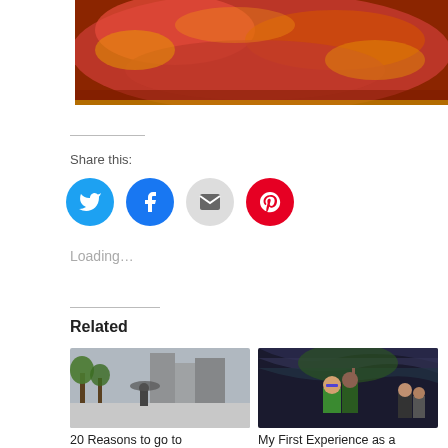[Figure (photo): Close-up photo of deep-dish pizza with red tomato sauce topping on a yellow plate]
Share this:
[Figure (infographic): Social sharing buttons: Twitter (blue), Facebook (blue), Email (grey), Pinterest (red)]
Loading…
Related
[Figure (photo): Outdoor plaza with sculptures and buildings in background (Chicago city scene)]
[Figure (photo): People taking selfies at the Bean sculpture (Cloud Gate) in Chicago, woman in green shirt in foreground]
20 Reasons to go to
My First Experience as a